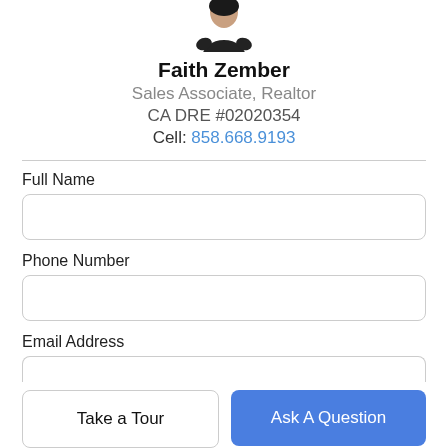[Figure (photo): Partial photo of Faith Zember, a woman in a black top, cropped at the top of the page]
Faith Zember
Sales Associate, Realtor
CA DRE #02020354
Cell: 858.668.9193
Full Name
Phone Number
Email Address
Take a Tour
Ask A Question